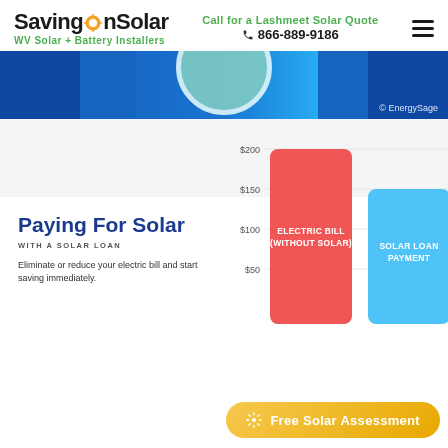SavingOnSolar — WV Solar + Battery Installers | Call for a Lashmeet Solar Quote 866-889-9186
[Figure (illustration): Blue and teal banner image with circular element and EnergySage copyright watermark]
Paying For Solar
WITH A SOLAR LOAN
Eliminate or reduce your electric bill and start saving immediately.
[Figure (bar-chart): Bar chart comparing electric bill without solar (~$200, red) vs solar loan payment (~$150, blue)]
Free Solar Assessment